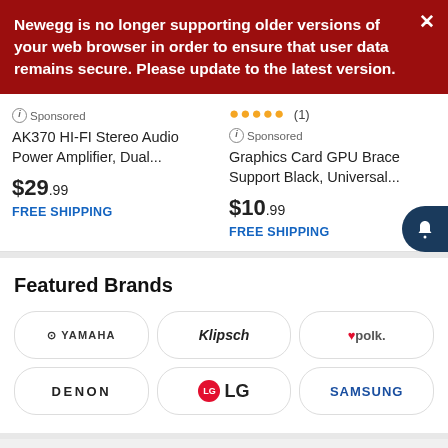Newegg is no longer supporting older versions of your web browser in order to ensure that user data remains secure. Please update to the latest version.
ⓘ Sponsored
AK370 HI-FI Stereo Audio Power Amplifier, Dual...
$29.99
FREE SHIPPING
★★★★★ (1)
ⓘ Sponsored
Graphics Card GPU Brace Support Black, Universal...
$10.99
FREE SHIPPING
Featured Brands
[Figure (logo): Six brand logos in a 3x2 grid: YAMAHA, Klipsch, Polk, DENON, LG, SAMSUNG]
What's Getting the Most Attention in